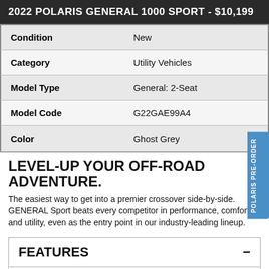2022 POLARIS GENERAL 1000 SPORT - $10,199
| Label | Value |
| --- | --- |
| Condition | New |
| Category | Utility Vehicles |
| Model Type | General: 2-Seat |
| Model Code | G22GAE99A4 |
| Color | Ghost Grey |
LEVEL-UP YOUR OFF-ROAD ADVENTURE.
The easiest way to get into a premier crossover side-by-side. GENERAL Sport beats every competitor in performance, comfort and utility, even as the entry point in our industry-leading lineup.
FEATURES
FEATURES